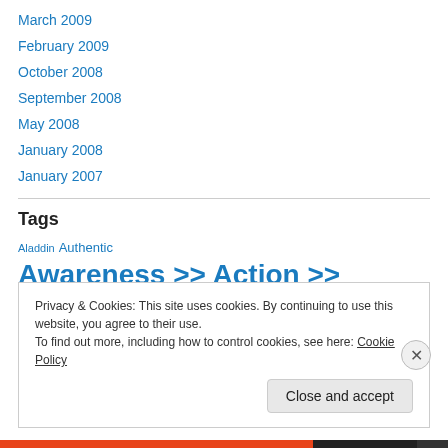March 2009
February 2009
October 2008
September 2008
May 2008
January 2008
January 2007
Tags
Aladdin  Authentic  Awareness >> Action >>
Privacy & Cookies: This site uses cookies. By continuing to use this website, you agree to their use.
To find out more, including how to control cookies, see here: Cookie Policy